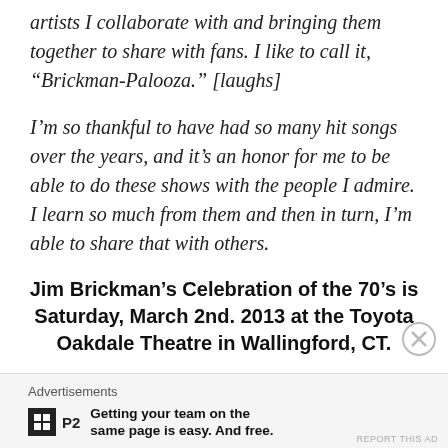artists I collaborate with and bringing them together to share with fans. I like to call it, “Brickman-Palooza.” [laughs]
I’m so thankful to have had so many hit songs over the years, and it’s an honor for me to be able to do these shows with the people I admire. I learn so much from them and then in turn, I’m able to share that with others.
Jim Brickman’s Celebration of the 70’s is Saturday, March 2nd. 2013 at the Toyota Oakdale Theatre in Wallingford, CT.
Advertisements
Getting your team on the same page is easy. And free.